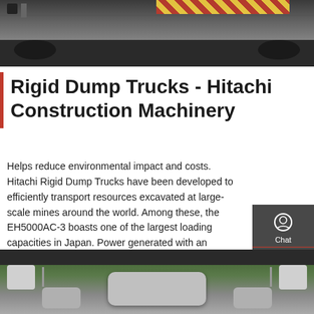[Figure (photo): Top portion of a large rigid dump truck showing the undercarriage/frame area with red and yellow reflective warning tape and tires visible]
Rigid Dump Trucks - Hitachi Construction Machinery
Helps reduce environmental impact and costs. Hitachi Rigid Dump Trucks have been developed to efficiently transport resources excavated at large-scale mines around the world. Among these, the EH5000AC-3 boasts one of the largest loading capacities in Japan. Power generated with an engine-powered generator is controlled through a control cabinet
Get a Quote
[Figure (photo): Bottom view of a rigid dump truck showing the undercarriage mechanical components including suspension and axle parts in gray and green colors]